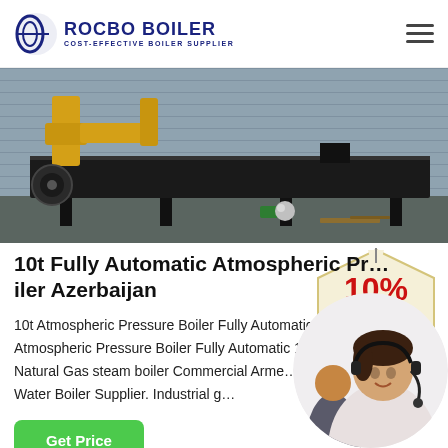ROCBO BOILER — COST-EFFECTIVE BOILER SUPPLIER
[Figure (photo): Industrial boiler equipment with yellow pipes and black enclosure in a warehouse setting]
10t Fully Automatic Atmospheric Pressure Boiler Azerbaijan
10t Atmospheric Pressure Boiler Fully Automatic … Industrial Atmospheric Pressure Boiler Fully Automatic 1t At… er 6t Natural Gas steam boiler Commercial Arme… Gas Steam Water Boiler Supplier. Industrial g…
[Figure (illustration): 10% DISCOUNT badge — cream/beige tag shape with red bold 10% and blue DISCOUNT text]
[Figure (photo): Customer service agent — woman with headset smiling, with another agent in the background, circular crop]
Get Price